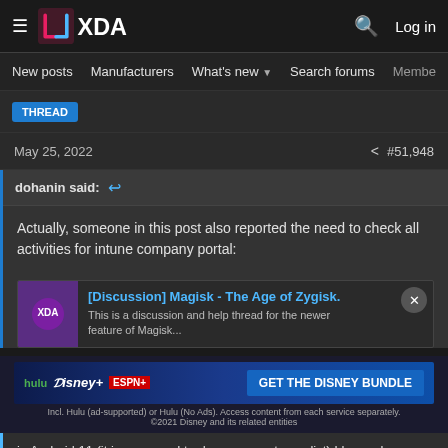XDA — New posts | Manufacturers | What's new | Search forums | Members
May 25, 2022  #51,948
dohanin said:
Actually, someone in this post also reported the need to check all activities for intune company portal:
[Figure (screenshot): [Discussion] Magisk - The Age of Zygisk. This is a discussion and help thread for the newer feature of Magisk...]
[Figure (infographic): Hulu Disney+ ESPN+ GET THE DISNEY BUNDLE advertisement. Incl. Hulu (ad-supported) or Hulu (No Ads). Access content from each service separately. ©2021 Disney and its related entities]
in Android 11 (it is supposed to deny access to applist) I have also added further...